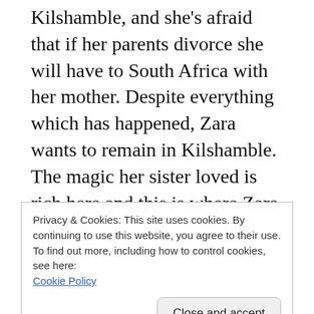Kilshamble, and she's afraid that if her parents divorce she will have to South Africa with her mother. Despite everything which has happened, Zara wants to remain in Kilshamble. The magic her sister loved is rich here and this is where Zara feels close to Laila. This is a story of grief, change and moving into new stages of life. Both Zara and David know what they want already, but owning it is another question.
Having read The Wickerlight, I am desperate to return to The Wren Hunt and to remind myself of
Privacy & Cookies: This site uses cookies. By continuing to use this website, you agree to their use.
To find out more, including how to control cookies, see here:
Cookie Policy
Close and accept
thorns. I look forward to continuing the story